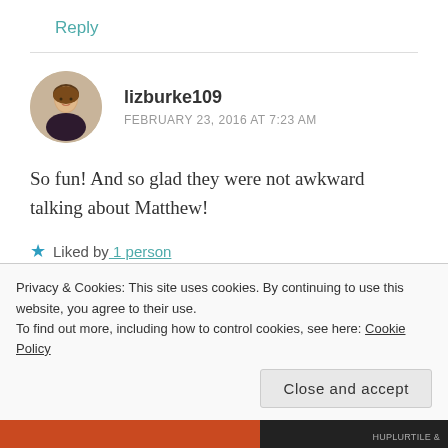Reply
[Figure (photo): Circular avatar photo of a woman with blonde hair wearing a dark top]
lizburke109
FEBRUARY 23, 2016 AT 7:23 AM
So fun! And so glad they were not awkward talking about Matthew!
★ Liked by 1 person
Reply
Privacy & Cookies: This site uses cookies. By continuing to use this website, you agree to their use.
To find out more, including how to control cookies, see here: Cookie Policy
Close and accept